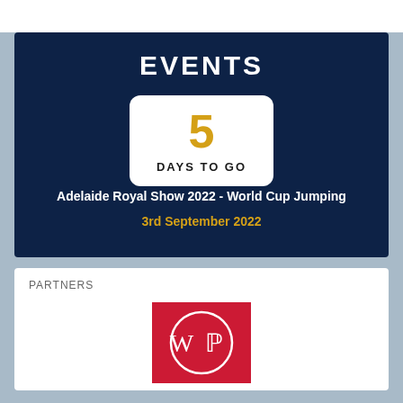EVENTS
5 DAYS TO GO
Adelaide Royal Show 2022 - World Cup Jumping
3rd September 2022
PARTNERS
[Figure (logo): WP logo — white circle with WP initials on a red square background]